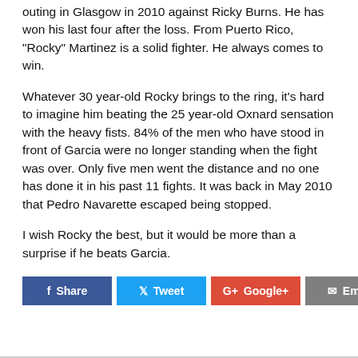outing in Glasgow in 2010 against Ricky Burns. He has won his last four after the loss. From Puerto Rico, “Rocky” Martinez is a solid fighter. He always comes to win.
Whatever 30 year-old Rocky brings to the ring, it’s hard to imagine him beating the 25 year-old Oxnard sensation with the heavy fists. 84% of the men who have stood in front of Garcia were no longer standing when the fight was over. Only five men went the distance and no one has done it in his past 11 fights. It was back in May 2010 that Pedro Navarette escaped being stopped.
I wish Rocky the best, but it would be more than a surprise if he beats Garcia.